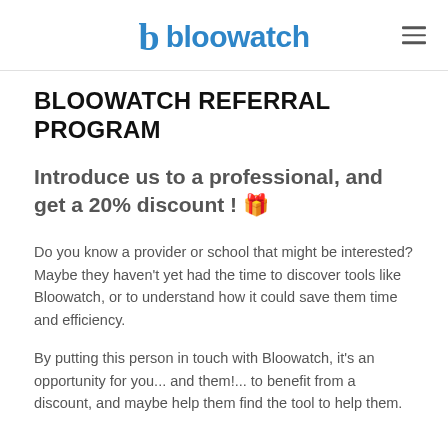bloowatch
BLOOWATCH REFERRAL PROGRAM
Introduce us to a professional, and get a 20% discount ! 🎁
Do you know a provider or school that might be interested? Maybe they haven't yet had the time to discover tools like Bloowatch, or to understand how it could save them time and efficiency.
By putting this person in touch with Bloowatch, it's an opportunity for you... and them!... to benefit from a discount, and maybe help them find the tool to help them.